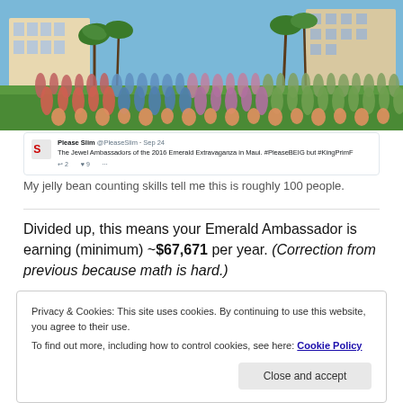[Figure (photo): Large group photo of approximately 100 women in colorful summer dresses posed outside a resort hotel with palm trees and blue sky, taken at the Emerald Extravaganza in Maui.]
[Figure (screenshot): Tweet from PleaseSlim (@PleaseSlim, Sep 24): 'The Jewel Ambassadors of the 2016 Emerald Extravaganza in Maui. #PleaseBEIG but #KingPrimF']
My jelly bean counting skills tell me this is roughly 100 people.
Divided up, this means your Emerald Ambassador is earning (minimum) ~$67,671 per year. (Correction from previous because math is hard.)
Privacy & Cookies: This site uses cookies. By continuing to use this website, you agree to their use.
To find out more, including how to control cookies, see here: Cookie Policy
Close and accept